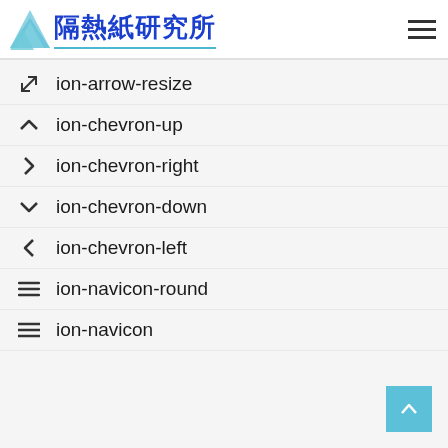隔熱紙研究所
ion-arrow-resize
ion-chevron-up
ion-chevron-right
ion-chevron-down
ion-chevron-left
ion-navicon-round
ion-navicon